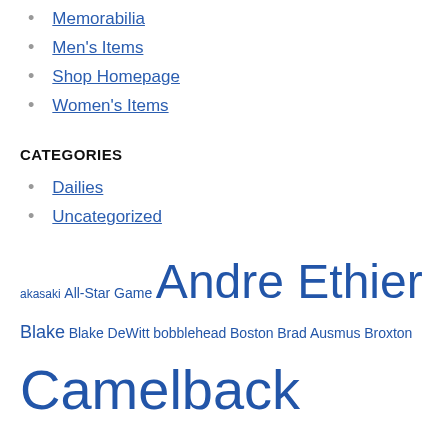Memorabilia
Men's Items
Shop Homepage
Women's Items
CATEGORIES
Dailies
Uncategorized
akasaki All-Star Game Andre Ethier Blake Blake DeWitt bobblehead Boston Brad Ausmus Broxton Camelback Ranch caravan Chad Billingsley Clayton Kershaw Dee Gordon DeWitt Dodgers Dodgers Dream Foundation Dodgers Magazine Dodger Stadium Dodgers tickets DodgerTalk Don Mattingly Don Newcombe ESPN ethier Facebook Fernando Valenzuela FOX Furcal Giants golf